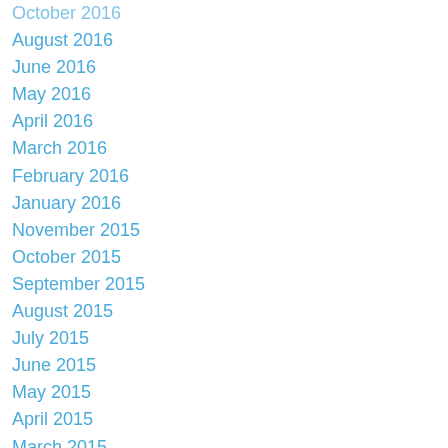October 2016
August 2016
June 2016
May 2016
April 2016
March 2016
February 2016
January 2016
November 2015
October 2015
September 2015
August 2015
July 2015
June 2015
May 2015
April 2015
March 2015
February 2015
January 2015
December 2014
November 2014